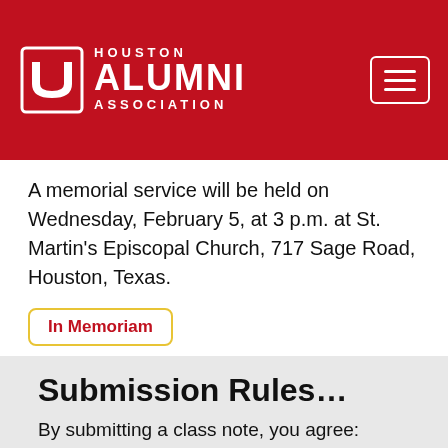[Figure (logo): University of Houston Alumni Association logo — red background with UH emblem and white text reading HOUSTON ALUMNI ASSOCIATION]
A memorial service will be held on Wednesday, February 5, at 3 p.m. at St. Martin's Episcopal Church, 717 Sage Road, Houston, Texas.
In Memoriam
Submission Rules…
By submitting a class note, you agree:
All Class Notes are visible to the general public. Do not submit anything you wish to keep private.
The University of Houston reserves the right to edit all submissions.
No Advertising or any form of commercial